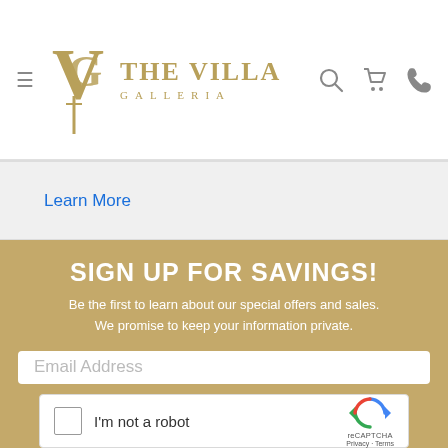[Figure (logo): The Villa Galleria logo with stylized VG monogram and text]
Learn More
SIGN UP FOR SAVINGS!
Be the first to learn about our special offers and sales. We promise to keep your information private.
Email Address
[Figure (other): reCAPTCHA widget with checkbox labeled I'm not a robot]